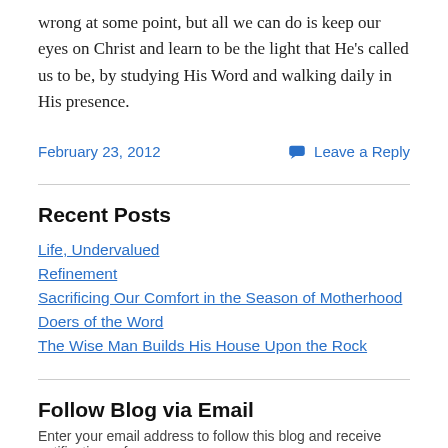wrong at some point, but all we can do is keep our eyes on Christ and learn to be the light that He's called us to be, by studying His Word and walking daily in His presence.
February 23, 2012
Leave a Reply
Recent Posts
Life, Undervalued
Refinement
Sacrificing Our Comfort in the Season of Motherhood
Doers of the Word
The Wise Man Builds His House Upon the Rock
Follow Blog via Email
Enter your email address to follow this blog and receive notifications of